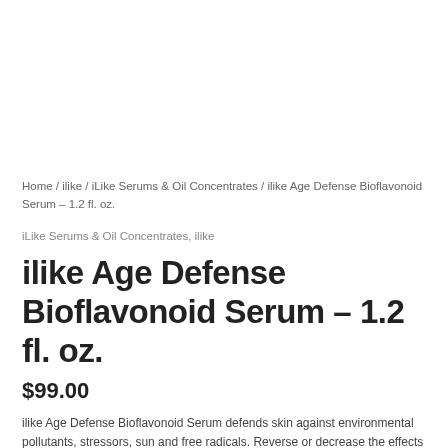Home / ilike / iLike Serums & Oil Concentrates / ilike Age Defense Bioflavonoid Serum – 1.2 fl. oz.
iLike Serums & Oil Concentrates, ilike
ilike Age Defense Bioflavonoid Serum – 1.2 fl. oz.
$99.00
ilike Age Defense Bioflavonoid Serum defends skin against environmental pollutants, stressors, sun and free radicals. Reverse or decrease the effects of these aggressors and boost your nutrient